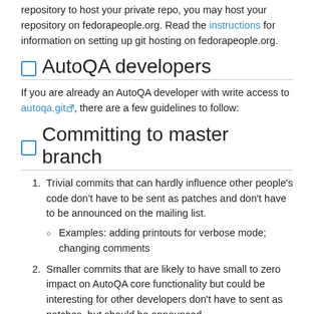repository to host your private repo, you may host your repository on fedorapeople.org. Read the instructions for information on setting up git hosting on fedorapeople.org.
AutoQA developers
If you are already an AutoQA developer with write access to autoqa.git, there are a few guidelines to follow:
Committing to master branch
Trivial commits that can hardly influence other people's code don't have to be sent as patches and don't have to be announced on the mailing list.
Examples: adding printouts for verbose mode; changing comments
Smaller commits that are likely to have small to zero impact on AutoQA core functionality but could be interesting for other developers don't have to sent as patches, but should be announced.